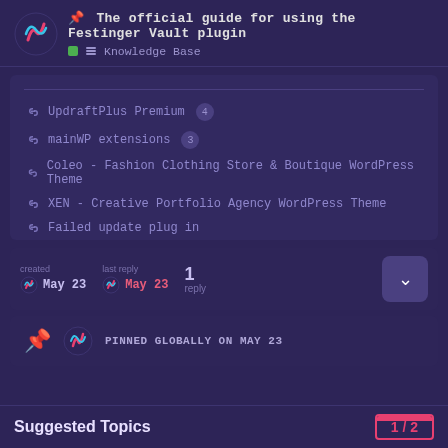📌 The official guide for using the Festinger Vault plugin — Knowledge Base
UpdraftPlus Premium 4
mainWP extensions 3
Coleo - Fashion Clothing Store & Boutique WordPress Theme
XEN - Creative Portfolio Agency WordPress Theme
Failed update plug in
created May 23 | last reply May 23 | 1 reply
PINNED GLOBALLY ON MAY 23
Suggested Topics
1 / 2